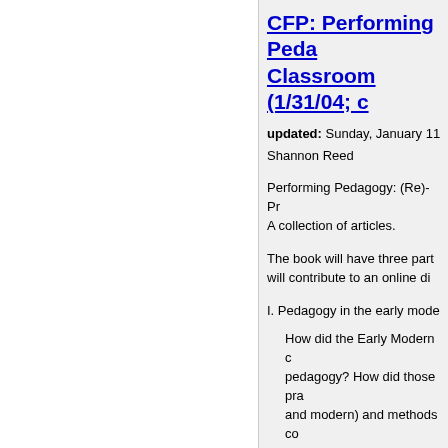CFP: Performing Pedagogy in the Classroom (1/31/04; collection)
updated: Sunday, January 11
Shannon Reed
Performing Pedagogy: (Re)-Presenting the Classroom in the Early Modern Period.
A collection of articles.
The book will have three parts. Contributors will contribute to an online discussion.
I. Pedagogy in the early modern period
How did the Early Modern classroom define pedagogy? How did those practices (early and modern) and methods co-